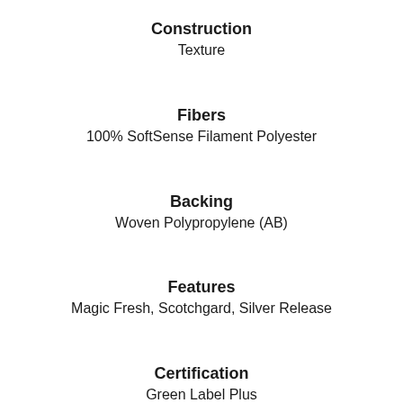Construction
Texture
Fibers
100% SoftSense Filament Polyester
Backing
Woven Polypropylene (AB)
Features
Magic Fresh, Scotchgard, Silver Release
Certification
Green Label Plus